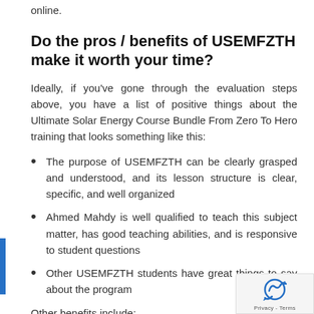online.
Do the pros / benefits of USEMFZTH make it worth your time?
Ideally, if you've gone through the evaluation steps above, you have a list of positive things about the Ultimate Solar Energy Course Bundle From Zero To Hero training that looks something like this:
The purpose of USEMFZTH can be clearly grasped and understood, and its lesson structure is clear, specific, and well organized
Ahmed Mahdy is well qualified to teach this subject matter, has good teaching abilities, and is responsive to student questions
Other USEMFZTH students have great things to say about the program
Other benefits include: